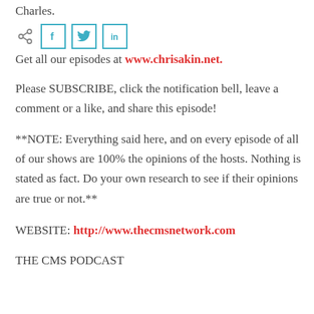Charles.
[Figure (other): Social share icons row: share icon, Facebook button (f), Twitter button (bird icon), LinkedIn button (in)]
Get all our episodes at www.chrisakin.net.
Please SUBSCRIBE, click the notification bell, leave a comment or a like, and share this episode!
**NOTE: Everything said here, and on every episode of all of our shows are 100% the opinions of the hosts. Nothing is stated as fact. Do your own research to see if their opinions are true or not.**
WEBSITE: http://www.thecmsnetwork.com
THE CMS PODCAST